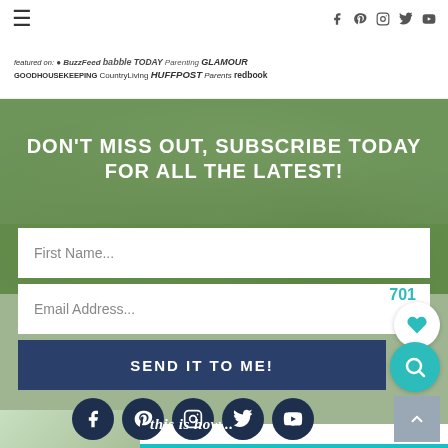≡  [social icons: facebook, pinterest, instagram, twitter, youtube]
[Figure (logo): Featured on: BuzzFeed, Babble, YAN, TODAY, Parenting, GLAMOUR, GOOD HOUSEKEEPING, CountryLiving, HUFFPOST, Parents, redbook logos]
DON'T MISS OUT, SUBSCRIBE TODAY FOR ALL THE LATEST!
First Name...
Email Address...
SEND IT TO ME!
[Figure (infographic): Social media icons row: Facebook, Pinterest, Instagram, Twitter, YouTube - dark navy circles]
[Figure (photo): Small thumbnail photo at bottom left, green/nature subject]
this is how...